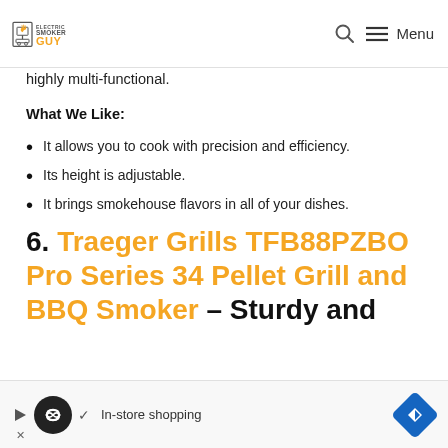Electric Smoker Guy — Menu
highly multi-functional.
What We Like:
It allows you to cook with precision and efficiency.
Its height is adjustable.
It brings smokehouse flavors in all of your dishes.
6. Traeger Grills TFB88PZBO Pro Series 34 Pellet Grill and BBQ Smoker – Sturdy and
[Figure (screenshot): Advertisement bar at bottom: In-store shopping ad with circular logo, play button, checkmark, and blue navigation icon.]